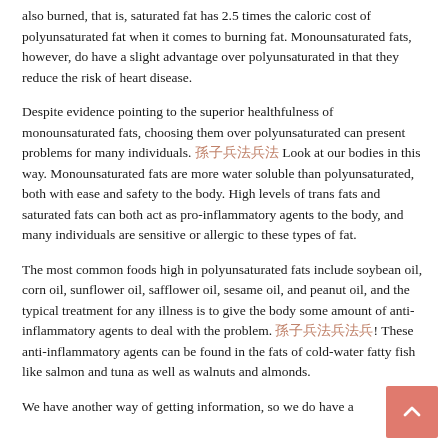also burned, that is, saturated fat has 2.5 times the caloric cost of polyunsaturated fat when it comes to burning fat. Monounsaturated fats, however, do have a slight advantage over polyunsaturated in that they reduce the risk of heart disease.
Despite evidence pointing to the superior healthfulness of monounsaturated fats, choosing them over polyunsaturated can present problems for many individuals. [citation] Look at our bodies in this way. Monounsaturated fats are more water soluble than polyunsaturated, both with ease and safety to the body. High levels of trans fats and saturated fats can both act as pro-inflammatory agents to the body, and many individuals are sensitive or allergic to these types of fat.
The most common foods high in polyunsaturated fats include soybean oil, corn oil, sunflower oil, safflower oil, sesame oil, and peanut oil, and the typical treatment for any illness is to give the body some amount of anti-inflammatory agents to deal with the problem. [citation] These anti-inflammatory agents can be found in the fats of cold-water fatty fish like salmon and tuna as well as walnuts and almonds.
We have another way of getting information, so we do have a